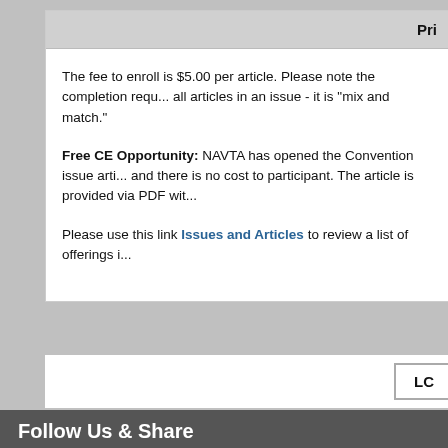Pri...
The fee to enroll is $5.00 per article. Please note the completion requ... all articles in an issue - it is "mix and match."
Free CE Opportunity: NAVTA has opened the Convention issue arti... and there is no cost to participant. The article is provided via PDF wit...
Please use this link Issues and Articles to review a list of offerings i...
LO...
Follow Us & Share
[Figure (logo): Facebook icon - blue square with white 'f' logo]
Home | Site Map | About VetMedT... Copyright © 1999-2022...